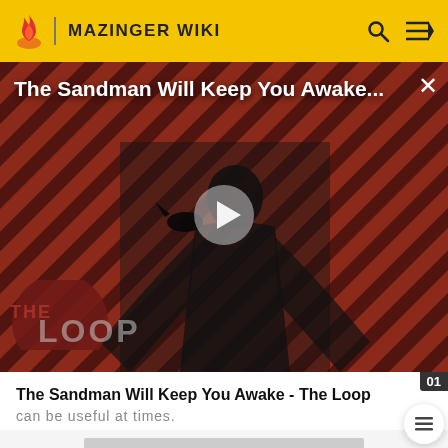MAZINGER WIKI
[Figure (screenshot): Video thumbnail for 'The Sandman Will Keep You Awake - The Loop' showing a dark-caped figure against a red and black diagonal stripe background with 'THE LOOP' logo at bottom left and a white play button in center]
The Sandman Will Keep You Awake - The Loop
can be useful at times.